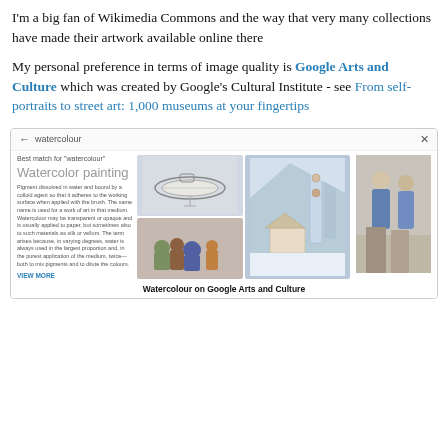I'm a big fan of Wikimedia Commons and the way that very many collections have made their artwork available online there
My personal preference in terms of image quality is Google Arts and Culture which was created by Google's Cultural Institute - see From self-portraits to street art: 1,000 museums at your fingertips
[Figure (screenshot): Screenshot of Google Arts and Culture search results page for 'watercolour', showing 'Best match for watercolour' with 'Watercolor painting' heading, a description of the medium, and a grid of watercolour artwork images including a submarine sketch and two paintings. Caption reads: Watercolour on Google Arts and Culture]